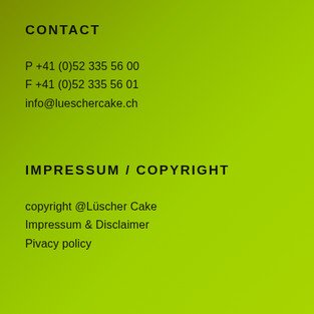CONTACT
P +41 (0)52 335 56 00
F +41 (0)52 335 56 01
info@lueschercake.ch
IMPRESSUM / COPYRIGHT
copyright @Lüscher Cake
Impressum & Disclaimer
Pivacy policy